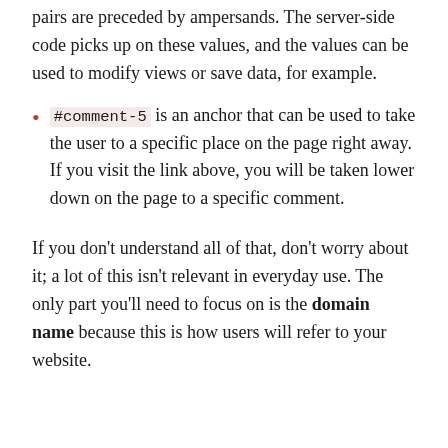pairs are preceded by ampersands. The server-side code picks up on these values, and the values can be used to modify views or save data, for example.
#comment-5 is an anchor that can be used to take the user to a specific place on the page right away. If you visit the link above, you will be taken lower down on the page to a specific comment.
If you don't understand all of that, don't worry about it; a lot of this isn't relevant in everyday use. The only part you'll need to focus on is the domain name because this is how users will refer to your website.